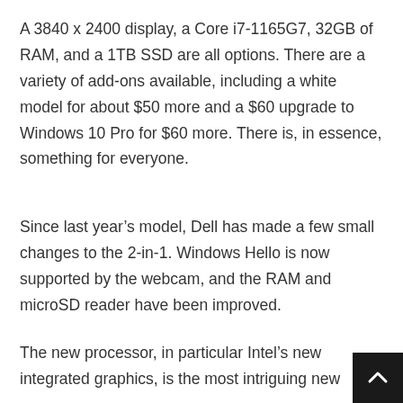A 3840 x 2400 display, a Core i7-1165G7, 32GB of RAM, and a 1TB SSD are all options. There are a variety of add-ons available, including a white model for about $50 more and a $60 upgrade to Windows 10 Pro for $60 more. There is, in essence, something for everyone.
Since last year’s model, Dell has made a few small changes to the 2-in-1. Windows Hello is now supported by the webcam, and the RAM and microSD reader have been improved.
The new processor, in particular Intel’s new integrated graphics, is the most intriguing new